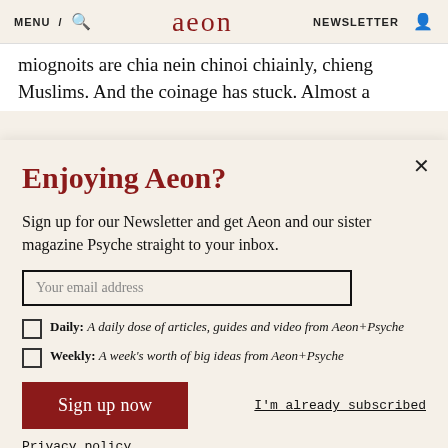MENU / [search] aeon NEWSLETTER [user icon]
miognoits are chia nein chinoi chiainly, chieng Muslims. And the coinage has stuck. Almost a
Enjoying Aeon?
Sign up for our Newsletter and get Aeon and our sister magazine Psyche straight to your inbox.
Your email address
Daily: A daily dose of articles, guides and video from Aeon+Psyche
Weekly: A week's worth of big ideas from Aeon+Psyche
Sign up now
I'm already subscribed
Privacy policy